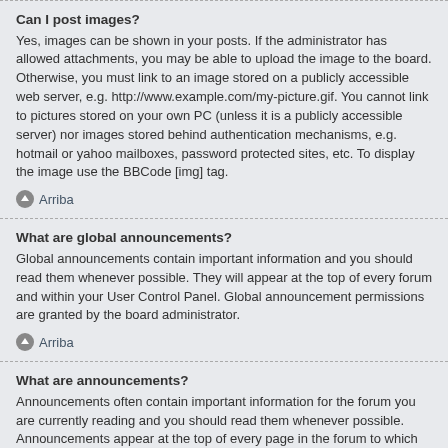Can I post images?
Yes, images can be shown in your posts. If the administrator has allowed attachments, you may be able to upload the image to the board. Otherwise, you must link to an image stored on a publicly accessible web server, e.g. http://www.example.com/my-picture.gif. You cannot link to pictures stored on your own PC (unless it is a publicly accessible server) nor images stored behind authentication mechanisms, e.g. hotmail or yahoo mailboxes, password protected sites, etc. To display the image use the BBCode [img] tag.
Arriba
What are global announcements?
Global announcements contain important information and you should read them whenever possible. They will appear at the top of every forum and within your User Control Panel. Global announcement permissions are granted by the board administrator.
Arriba
What are announcements?
Announcements often contain important information for the forum you are currently reading and you should read them whenever possible. Announcements appear at the top of every page in the forum to which they are posted. As with global announcements, announcement permissions are granted by the board administrator.